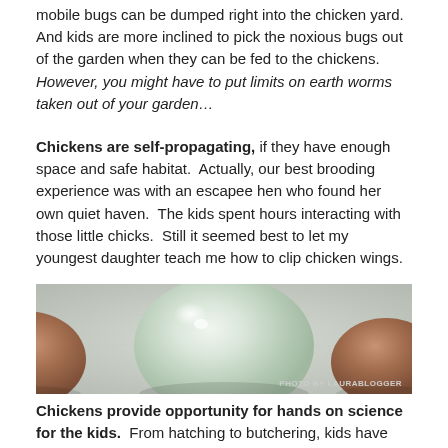mobile bugs can be dumped right into the chicken yard.  And kids are more inclined to pick the noxious bugs out of the garden when they can be fed to the chickens.  However, you might have to put limits on earth worms taken out of your garden…
Chickens are self-propagating, if they have enough space and safe habitat.  Actually, our best brooding experience was with an escapee hen who found her own quiet haven.  The kids spent hours interacting with those little chicks.  Still it seemed best to let my youngest daughter teach me how to clip chicken wings.
[Figure (photo): Close-up photo of eggs: a pale blue/green egg in the center flanked by brown eggs on white cloth background. Photo credit: PHOTO BY LAURABLOGGER]
Chickens provide opportunity for hands on science for the kids.  From hatching to butchering, kids have many opportunities